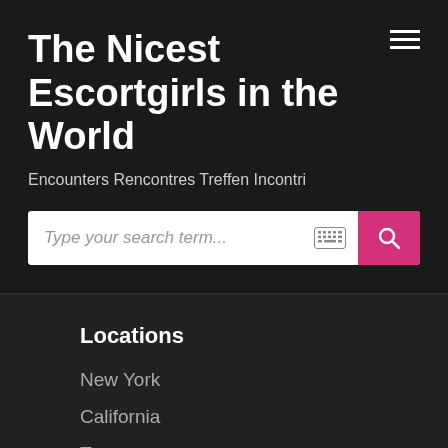The Nicest Escortgirls in the World
Encounters Rencontres Treffen Incontri
New York
California
Texas
Massachusetts